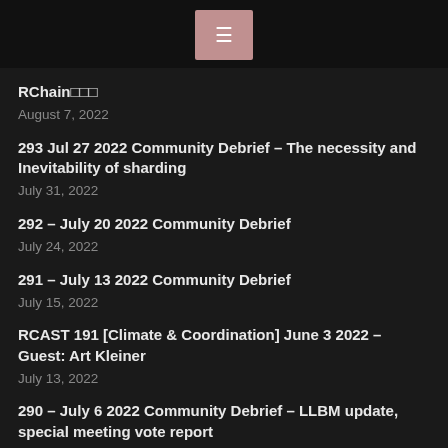≡
RChain□□□
August 7, 2022
293 Jul 27 2022 Community Debrief – The necessity and Inevitability of sharding
July 31, 2022
292 – July 20 2022 Community Debrief
July 24, 2022
291 – July 13 2022 Community Debrief
July 15, 2022
RCAST 191 [Climate & Coordination] June 3 2022 – Guest: Art Kleiner
July 13, 2022
290 – July 6 2022 Community Debrief – LLBM update, special meeting vote report